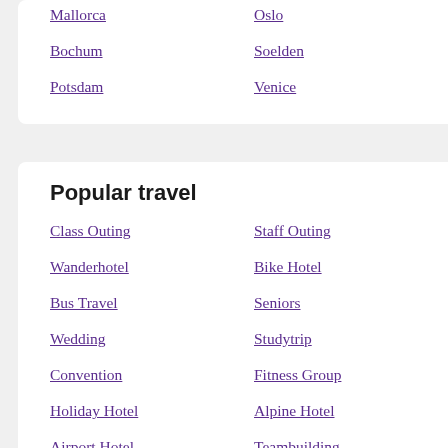Mallorca
Oslo
Bochum
Soelden
Potsdam
Venice
Popular travel
Class Outing
Staff Outing
Wanderhotel
Bike Hotel
Bus Travel
Seniors
Wedding
Studytrip
Convention
Fitness Group
Holiday Hotel
Alpine Hotel
Airport Hotel
Teambuilding
Group Trip
Football Fans
Dance Group
Bahnreise